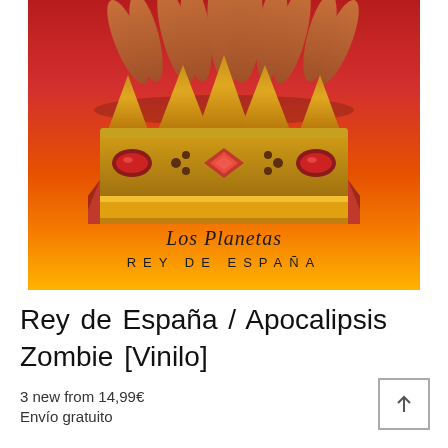[Figure (illustration): Album cover for Los Planetas 'Rey de España / Apocalipsis Zombie' vinyl. Red and orange gradient background with multiple pairs of legs at top, and a large ornate golden crown in the center. Script text 'Los Planetas' and 'REY DE ESPAÑA' at the bottom of the cover.]
Rey de España / Apocalipsis Zombie [Vinilo]
3 new from 14,99€
Envío gratuito